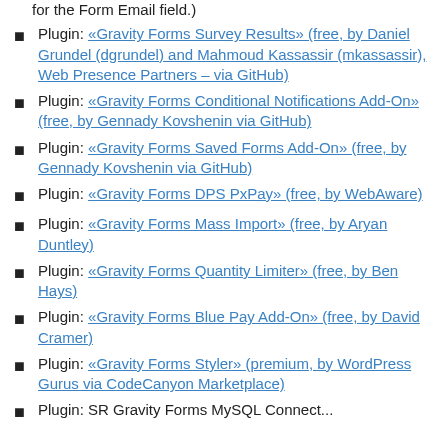Plugin: «Gravity Forms Survey Results» (free, by Daniel Grundel (dgrundel) and Mahmoud Kassassir (mkassassir), Web Presence Partners – via GitHub)
Plugin: «Gravity Forms Conditional Notifications Add-On» (free, by Gennady Kovshenin via GitHub)
Plugin: «Gravity Forms Saved Forms Add-On» (free, by Gennady Kovshenin via GitHub)
Plugin: «Gravity Forms DPS PxPay» (free, by WebAware)
Plugin: «Gravity Forms Mass Import» (free, by Aryan Duntley)
Plugin: «Gravity Forms Quantity Limiter» (free, by Ben Hays)
Plugin: «Gravity Forms Blue Pay Add-On» (free, by David Cramer)
Plugin: «Gravity Forms Styler» (premium, by WordPress Gurus via CodeCanyon Marketplace)
Plugin: SR Gravity Forms MySQL Connect...